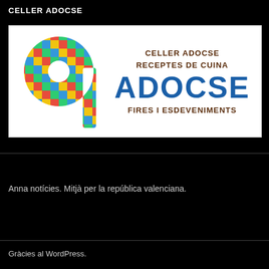CELLER ADOCSE
[Figure (logo): Celler Adocse banner with colorful tiled letter 'a' logo on the left and text: CELLER ADOCSE, RECEPTES DE CUINA, ADOCSE (large blue), FIRES I ESDEVENIMENTS on the right]
Anna notícies. Mitjà per la república valenciana.
Gràcies al WordPress.